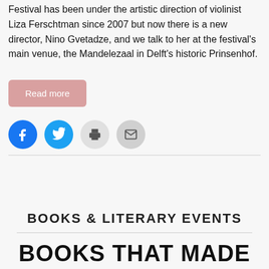Festival has been under the artistic direction of violinist Liza Ferschtman since 2007 but now there is a new director, Nino Gvetadze, and we talk to her at the festival's main venue, the Mandelezaal in Delft's historic Prinsenhof.
Read more
[Figure (other): Social sharing icons: Facebook (blue circle), Twitter (blue circle), Print (light grey circle), Email (light grey circle)]
BOOKS & LITERARY EVENTS
BOOKS THAT MADE